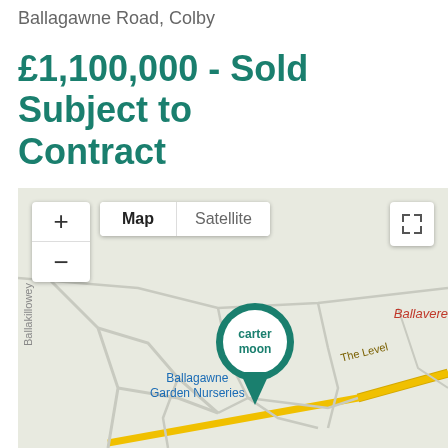Ballagawne Road, Colby
£1,100,000 - Sold Subject to Contract
[Figure (map): Google Maps showing the property location on Ballagawne Road, Colby. The map displays roads including Ballakillowey, The Level, and Ballavere area. A teal carter moon location pin is shown at Ballagawne Garden Nurseries. Map controls include zoom in/out buttons, Map/Satellite toggle, and fullscreen button.]